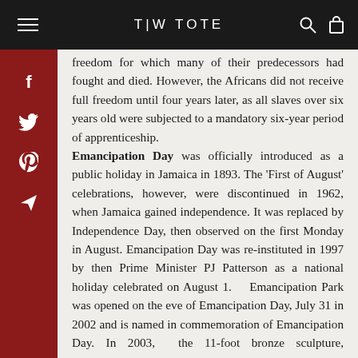T|W TOTE
freedom for which many of their predecessors had fought and died. However, the Africans did not receive full freedom until four years later, as all slaves over six years old were subjected to a mandatory six-year period of apprenticeship. Emancipation Day was officially introduced as a public holiday in Jamaica in 1893. The 'First of August' celebrations, however, were discontinued in 1962, when Jamaica gained independence. It was replaced by Independence Day, then observed on the first Monday in August. Emancipation Day was re-instituted in 1997 by then Prime Minister PJ Patterson as a national holiday celebrated on August 1. Emancipation Park was opened on the eve of Emancipation Day, July 31 in 2002 and is named in commemoration of Emancipation Day. In 2003, the 11-foot bronze sculpture, Redemption Song, by Jamaican Laura Facey, was unveiled at the main entrance of the park. Facey said she was inspired by the words of National Hero Marcus Garvey and later reggae legend Bob Marley, "none but ourselves can free our minds". The first country in the world to commemorate